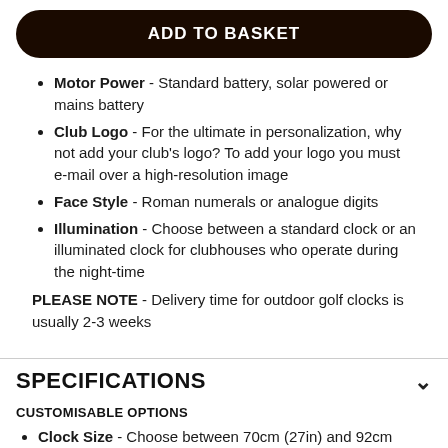ADD TO BASKET
Motor Power - Standard battery, solar powered or mains battery
Club Logo - For the ultimate in personalization, why not add your club's logo? To add your logo you must e-mail over a high-resolution image
Face Style - Roman numerals or analogue digits
Illumination - Choose between a standard clock or an illuminated clock for clubhouses who operate during the night-time
PLEASE NOTE - Delivery time for outdoor golf clocks is usually 2-3 weeks
SPECIFICATIONS
CUSTOMISABLE OPTIONS
Clock Size - Choose between 70cm (27in) and 92cm (36in) outdoor clocks
Power Source - Standard battery, solar powered or mains